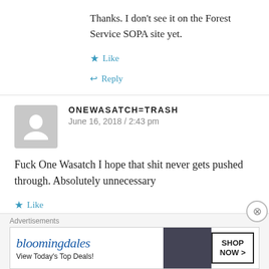Thanks. I don't see it on the Forest Service SOPA site yet.
Like
Reply
ONEWASATCH=TRASH
June 16, 2018 / 2:43 pm
Fuck One Wasatch I hope that shit never gets pushed through. Absolutely unnecessary
Like
Advertisements
[Figure (screenshot): Bloomingdale's advertisement banner: 'View Today's Top Deals!' with 'SHOP NOW >' button and image of woman in hat]